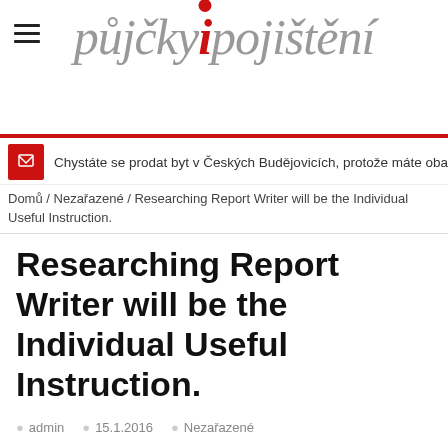půjčky i pojištění
Chystáte se prodat byt v Českých Budějovicích, protože máte obavy z propadu
Domů / Nezařazené / Researching Report Writer will be the Individual Useful Instruction.
Researching Report Writer will be the Individual Useful Instruction.
admin  15.1.2016  Nezařazené